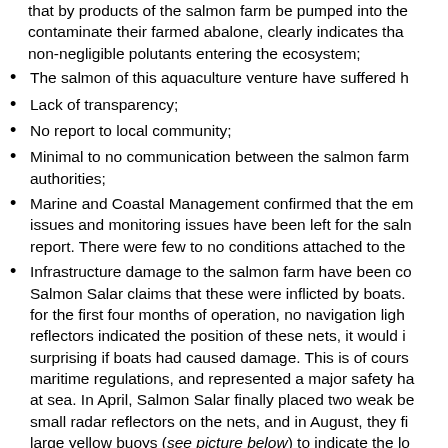that by products of the salmon farm be pumped into the contaminate their farmed abalone, clearly indicates that non-negligible polutants entering the ecosystem;
The salmon of this aquaculture venture have suffered h
Lack of transparency;
No report to local community;
Minimal to no communication between the salmon farm authorities;
Marine and Coastal Management confirmed that the em issues and monitoring issues have been left for the saln report. There were few to no conditions attached to the
Infrastructure damage to the salmon farm have been co Salmon Salar claims that these were inflicted by boats. for the first four months of operation, no navigation ligh reflectors indicated the position of these nets, it would i surprising if boats had caused damage. This is of cours maritime regulations, and represented a major safety ha at sea. In April, Salmon Salar finally placed two weak be small radar reflectors on the nets, and in August, they fi large yellow buoys (see picture below) to indicate the lo farm. But the damage is most likely not from boats nor f salmon farm terrorists like myself, but due to an extrem location in the Cape of Storms;
Norwegian owner of Salmon Salar and their South Afric refused to comment;
Salmon Salar is 100% owned by Norwegian George A...